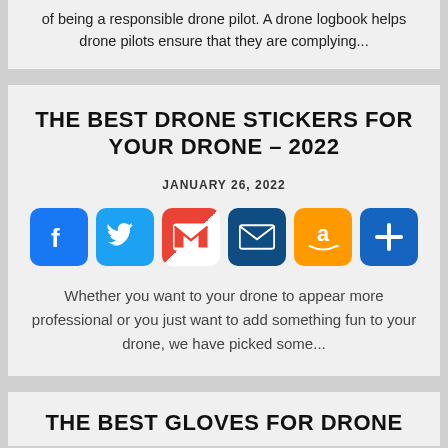of being a responsible drone pilot. A drone logbook helps drone pilots ensure that they are complying...
THE BEST DRONE STICKERS FOR YOUR DRONE – 2022
JANUARY 26, 2022
[Figure (infographic): Row of six social share icon buttons: Facebook (blue), Twitter (blue), Gmail (red/white), Email (dark blue), Amazon (orange), Share/Plus (blue)]
Whether you want to your drone to appear more professional or you just want to add something fun to your drone, we have picked some...
THE BEST GLOVES FOR DRONE